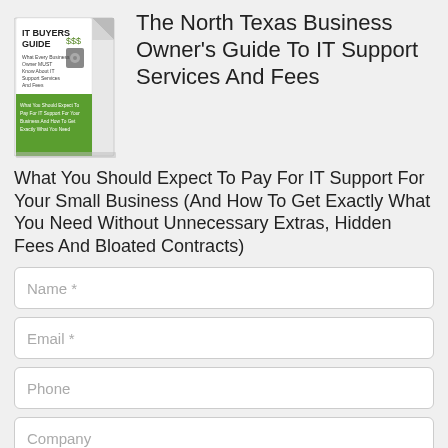[Figure (illustration): IT Buyers Guide book cover with green banner and dollar sign graphics]
The North Texas Business Owner's Guide To IT Support Services And Fees
What You Should Expect To Pay For IT Support For Your Small Business (And How To Get Exactly What You Need Without Unnecessary Extras, Hidden Fees And Bloated Contracts)
Name *
Email *
Phone
Company